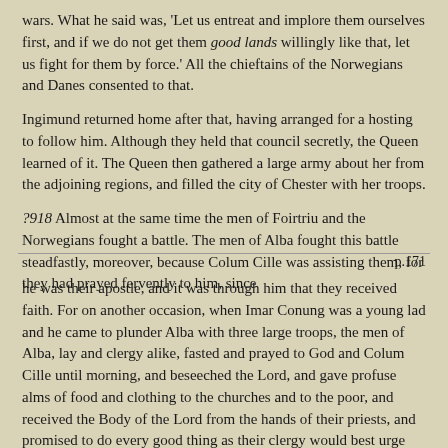wars. What he said was, 'Let us entreat and implore them ourselves first, and if we do not get them good lands willingly like that, let us fight for them by force.' All the chieftains of the Norwegians and Danes consented to that.
Ingimund returned home after that, having arranged for a hosting to follow him. Although they held that council secretly, the Queen learned of it. The Queen then gathered a large army about her from the adjoining regions, and filled the city of Chester with her troops.
?918 Almost at the same time the men of Foirtriu and the Norwegians fought a battle. The men of Alba fought this battle steadfastly, moreover, because Colum Cille was assisting them, for they had prayed fervently to him, since
p.171
he was their apostle, and it was through him that they received faith. For on another occasion, when Imar Conung was a young lad and he came to plunder Alba with three large troops, the men of Alba, lay and clergy alike, fasted and prayed to God and Colum Cille until morning, and beseeched the Lord, and gave profuse alms of food and clothing to the churches and to the poor, and received the Body of the Lord from the hands of their priests, and promised to do every good thing as their clergy would best urge them, and that their battle-standard in the van of every battle would be the Crozier of Colum Cille—and it is on that account that it is called the Cathbuaid MhButle Trian add from then on as here below that